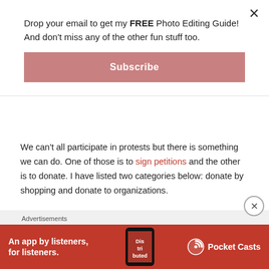Drop your email to get my FREE Photo Editing Guide! And don't miss any of the other fun stuff too.
Subscribe
We can't all participate in protests but there is something we can do. One of those is to sign petitions and the other is to donate. I have listed two categories below: donate by shopping and donate to organizations.
Donate by Shopping
There are some amazing companies out there who are busily creating to sell and donating the proceeds of sales to #BLM or
Advertisements
[Figure (screenshot): Pocket Casts advertisement banner: red background with text 'An app by listeners, for listeners.' and Pocket Casts logo, with phone image showing 'Distributed' podcast art]